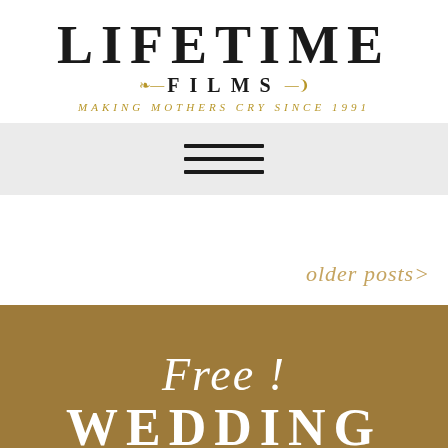[Figure (logo): Lifetime Films logo. Large bold serif 'LIFETIME' text, below it decorative swirl ornaments flanking 'FILMS' in bold serif, then italic gold tagline 'MAKING MOTHERS CRY SINCE 1991']
[Figure (other): Hamburger menu icon — three horizontal black bars centered on a light grey background strip]
older posts>
Free!
WEDDING